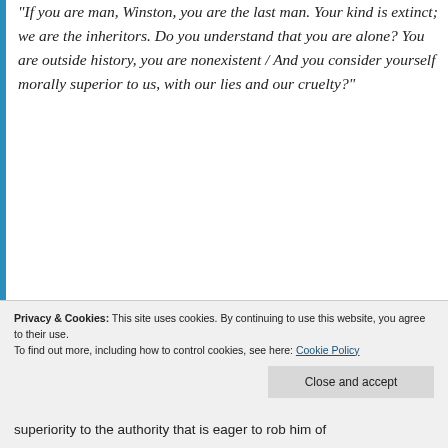“If you are man, Winston, you are the last man.  Your kind is extinct; we are the inheritors.  Do you understand that you are alone?  You are outside history, you are nonexistent / And you consider yourself morally superior to us, with our lies and our cruelty?”
“Yes, I consider myself superior” (p. 269-270)
REPORT THIS AD
Privacy & Cookies: This site uses cookies. By continuing to use this website, you agree to their use.
To find out more, including how to control cookies, see here: Cookie Policy
Close and accept
superiority to the authority that is eager to rob him of